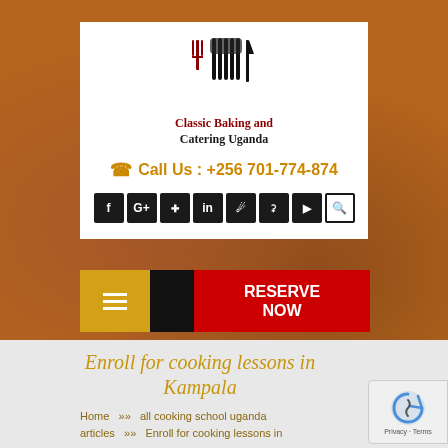[Figure (logo): Classic Baking and Catering Uganda logo with fork and knife icon]
Call Us : +256 701-774-874
[Figure (screenshot): Social media icons bar: Facebook, Google+, Pinterest, LinkedIn, Foursquare, Flickr, YouTube, Search]
[Figure (screenshot): Navigation bar with hamburger menu (yellow) and RESERVE NOW button (red)]
Enroll for cooking lessons in Kampala
Home >> all cooking school uganda articles >> Enroll for cooking lessons in